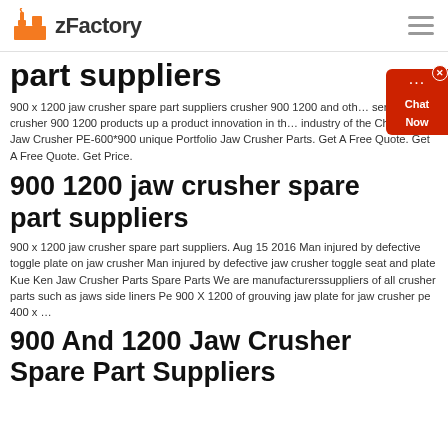zFactory
part suppliers
900 x 1200 jaw crusher spare part suppliers crusher 900 1200 and other series of jaw crusher 900 1200 products up a product innovation in the industry of the China PE Jaw Crusher PE-600*900 unique Portfolio Jaw Crusher Parts. Get A Free Quote. Get A Free Quote. Get Price.
900 1200 jaw crusher spare part suppliers
900 x 1200 jaw crusher spare part suppliers. Aug 15 2016 Man injured by defective toggle plate on jaw crusher Man injured by defective jaw crusher toggle seat and plate Kue Ken Jaw Crusher Parts Spare Parts We are manufacturerssuppliers of all crusher parts such as jaws side liners Pe 900 X 1200 of grouving jaw plate for jaw crusher pe 400 x …
900 And 1200 Jaw Crusher Spare Part Suppliers